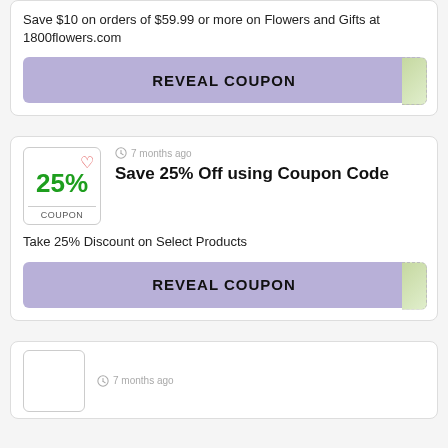Save $10 on orders of $59.99 or more on Flowers and Gifts at 1800flowers.com
[Figure (other): Purple REVEAL COUPON button with dashed green corner tab]
[Figure (other): Coupon card with 25% in green, heart icon, COUPON label, 7 months ago timestamp]
Save 25% Off using Coupon Code
Take 25% Discount on Select Products
[Figure (other): Purple REVEAL COUPON button with dashed green corner tab]
7 months ago
[Figure (other): Partial coupon badge at bottom of page]